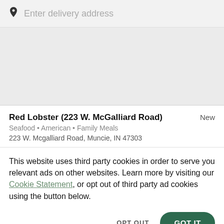Enter delivery address
[Figure (other): Map area / gray placeholder showing map view]
Red Lobster (223 W. McGalliard Road)
New
Seafood • American • Family Meals
223 W. Mcgalliard Road, Muncie, IN 47303
This website uses third party cookies in order to serve you relevant ads on other websites. Learn more by visiting our Cookie Statement, or opt out of third party ad cookies using the button below.
OPT OUT
GOT IT